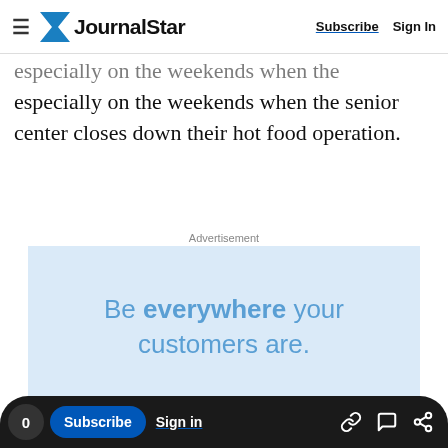Journal Star | Subscribe | Sign In
especially on the weekends when the senior center closes down their hot food operation.
Advertisement
[Figure (other): Advertisement banner with light blue background reading 'Be everywhere your customers are.']
0 | Subscribe | Sign in